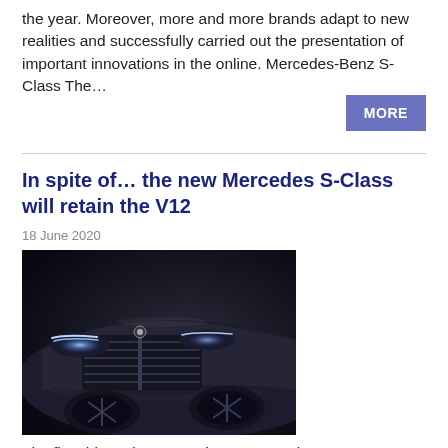the year. Moreover, more and more brands adapt to new realities and successfully carried out the presentation of important innovations in the online. Mercedes-Benz S-Class The…
MORE
In spite of… the new Mercedes S-Class will retain the V12
18 June 2020
[Figure (photo): Dark teaser photo of the new Mercedes-Benz S-Class (W223) showing the front fascia, grille, and headlights in dramatic low-light setting.]
The flagship sedan Mercedes-Benz S-Class next generation (index W223) will remain in the line of 12-cylinder engine.